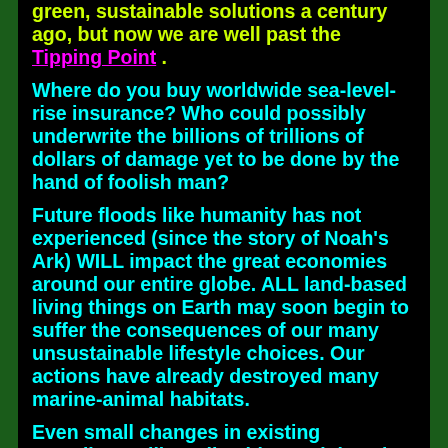green, sustainable solutions a century ago, but now we are well past the Tipping Point .
Where do you buy worldwide sea-level-rise insurance? Who could possibly underwrite the billions of trillions of dollars of damage yet to be done by the hand of foolish man?
Future floods like humanity has not experienced (since the story of Noah's Ark) WILL impact the great economies around our entire globe. ALL land-based living things on Earth may soon begin to suffer the consequences of our many unsustainable lifestyle choices. Our actions have already destroyed many marine-animal habitats.
Even small changes in existing coastlines will predictably result in salt water filling the basements of the largest man-made megacities on our precarious planet. Many coastal megacities are already threatened by predictable storm surge.
Sea level rise will make a billion (previously wealthy) people become homeless - with no place of employment to go to, and no funding source large enough for worldwide welfare. There is NO